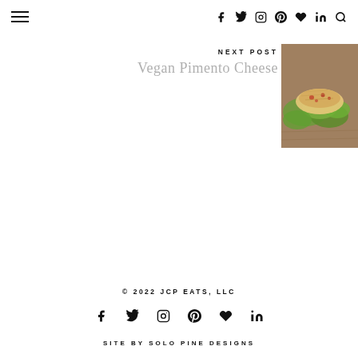Navigation bar with hamburger menu and social icons (Facebook, Twitter, Instagram, Pinterest, Heart/Bloglovin, LinkedIn, Search)
NEXT POST
Vegan Pimento Cheese
[Figure (photo): Food photo showing vegan pimento cheese served on lettuce leaves on a wooden board]
© 2022 JCP EATS, LLC
Footer social icons: Facebook, Twitter, Instagram, Pinterest, Heart/Bloglovin, LinkedIn
SITE BY SOLO PINE DESIGNS